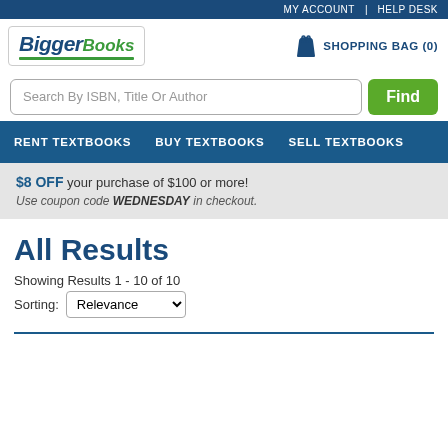MY ACCOUNT | HELP DESK
[Figure (logo): BiggerBooks logo — stylized text with 'Bigger' in dark blue italic and 'Books' in green italic, with a green underline, inside a bordered box]
SHOPPING BAG (0)
Search By ISBN, Title Or Author
Find
RENT TEXTBOOKS   BUY TEXTBOOKS   SELL TEXTBOOKS
$8 OFF your purchase of $100 or more! Use coupon code WEDNESDAY in checkout.
All Results
Showing Results 1 - 10 of 10
Sorting:  Relevance